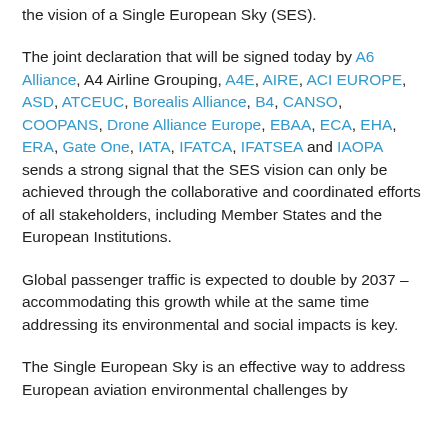the vision of a Single European Sky (SES).
The joint declaration that will be signed today by A6 Alliance, A4 Airline Grouping, A4E, AIRE, ACI EUROPE, ASD, ATCEUC, Borealis Alliance, B4, CANSO, COOPANS, Drone Alliance Europe, EBAA, ECA, EHA, ERA, Gate One, IATA, IFATCA, IFATSEA and IAOPA sends a strong signal that the SES vision can only be achieved through the collaborative and coordinated efforts of all stakeholders, including Member States and the European Institutions.
Global passenger traffic is expected to double by 2037 – accommodating this growth while at the same time addressing its environmental and social impacts is key.
The Single European Sky is an effective way to address European aviation environmental challenges by